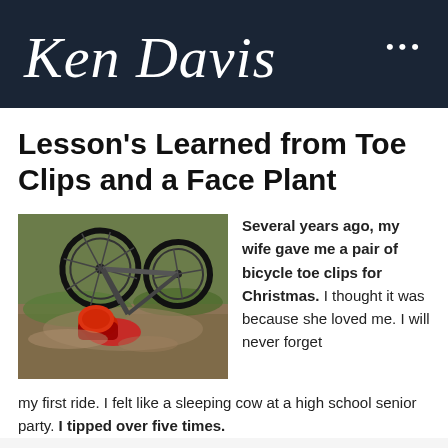Ken Davis
Lesson’s Learned from Toe Clips and a Face Plant
[Figure (photo): A bicycle crash photo showing a mountain bike flipped upside down with the rider in red and black helmet hitting the ground amid dirt and grass]
Several years ago, my wife gave me a pair of bicycle toe clips for Christmas. I thought it was because she loved me. I will never forget my first ride. I felt like a sleeping cow at a high school senior party. I tipped over five times.